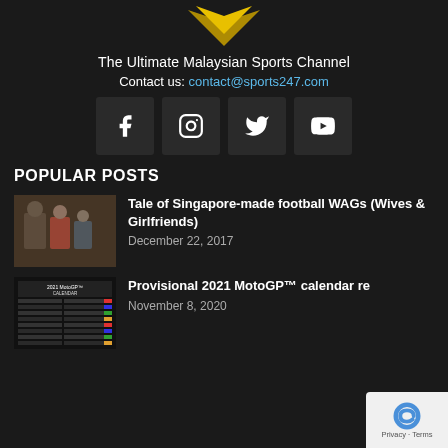[Figure (logo): Sports247 logo - gold/yellow chevron/shield shape at top]
The Ultimate Malaysian Sports Channel
Contact us: contact@sports247.com
[Figure (infographic): Social media icons row: Facebook, Instagram, Twitter, YouTube]
POPULAR POSTS
[Figure (photo): Thumbnail photo of people (Singapore football WAGs article)]
Tale of Singapore-made football WAGs (Wives & Girlfriends)
December 22, 2017
[Figure (photo): Thumbnail of 2021 MotoGP Calendar chart]
Provisional 2021 MotoGP™ calendar re
November 8, 2020